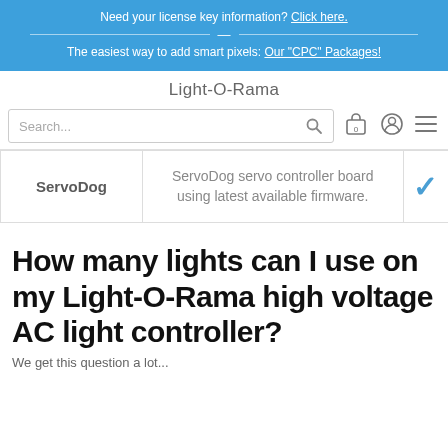Need your license key information? Click here.
—
The easiest way to add smart pixels: Our "CPC" Packages!
Light-O-Rama
Search...
|  |  |  |
| --- | --- | --- |
| ServoDog | ServoDog servo controller board using latest available firmware. | ✓ |
How many lights can I use on my Light-O-Rama high voltage AC light controller?
We get this question a lot...